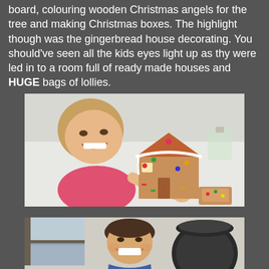board, colouring wooden Christmas angels for the tree and making Christmas boxes. The highlight though was the gingerbread house decorating. You should've seen all the kids eyes light up as thy were led in to a room full of ready made houses and HUGE bags of lollies.
[Figure (photo): A young girl with light hair smiling at the camera, sitting at a white table with a decorated gingerbread house covered in icing and colourful candies in front of her. There are bags of lollies and candy pieces on the table around her.]
[Figure (photo): A young boy with short brown hair smiling broadly at the camera, sitting at a table with a dark chair visible behind him.]